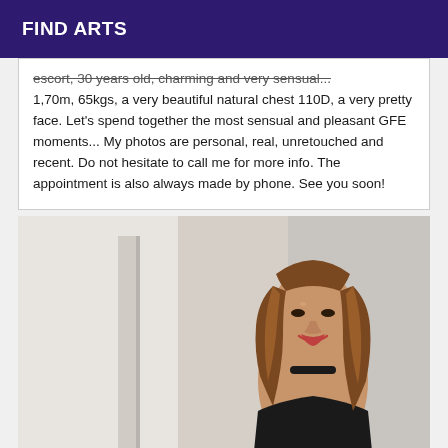FIND ARTS
escort, 30 years old, charming and very sensual... 1,70m, 65kgs, a very beautiful natural chest 110D, a very pretty face. Let's spend together the most sensual and pleasant GFE moments... My photos are personal, real, unretouched and recent. Do not hesitate to call me for more info. The appointment is also always made by phone. See you soon!
[Figure (photo): A young woman with long auburn/brown wavy hair, wearing a black choker necklace and a black off-shoulder top, smiling, photographed in a bright interior setting.]